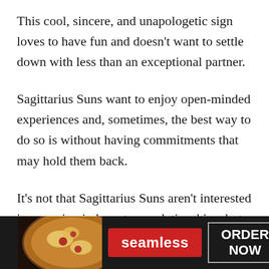This cool, sincere, and unapologetic sign loves to have fun and doesn't want to settle down with less than an exceptional partner.
Sagittarius Suns want to enjoy open-minded experiences and, sometimes, the best way to do so is without having commitments that may hold them back.
It's not that Sagittarius Suns aren't interested in engaging in long-term relationships, but they
[Figure (infographic): Seamless food delivery advertisement banner with pizza image on the left, red Seamless logo button in the center, and 'ORDER NOW' button on the right with a close (x) button in the top corner.]